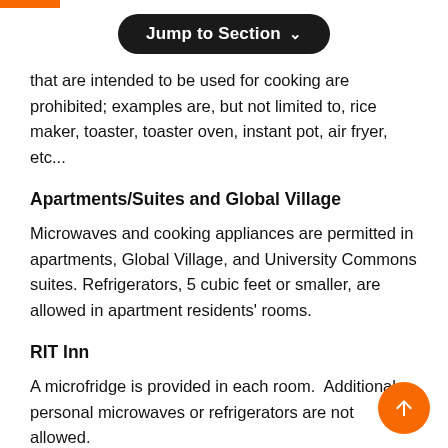that are intended to be used for cooking are prohibited; examples are, but not limited to, rice maker, toaster, toaster oven, instant pot, air fryer, etc...
Apartments/Suites and Global Village
Microwaves and cooking appliances are permitted in apartments, Global Village, and University Commons suites. Refrigerators, 5 cubic feet or smaller, are allowed in apartment residents' rooms.
RIT Inn
A microfridge is provided in each room.  Additional personal microwaves or refrigerators are not allowed.